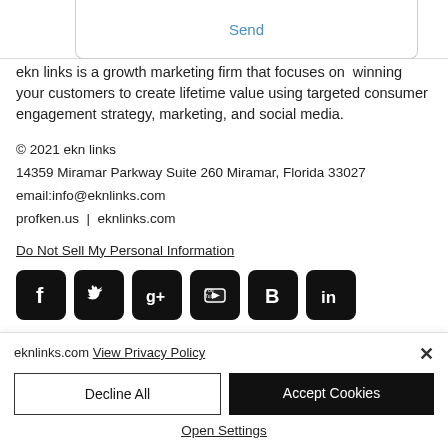Send
ekn links is a growth marketing firm that focuses on  winning your customers to create lifetime value using targeted consumer engagement strategy, marketing, and social media.
© 2021 ekn links
14359 Miramar Parkway Suite 260 Miramar, Florida 33027
email:info@eknlinks.com
profken.us  |  eknlinks.com
Do Not Sell My Personal Information
[Figure (infographic): Six social media icons in black rounded squares: Facebook, Twitter, Google+, YouTube, Blogger, LinkedIn]
eknlinks.com View Privacy Policy
Decline All
Accept Cookies
Open Settings